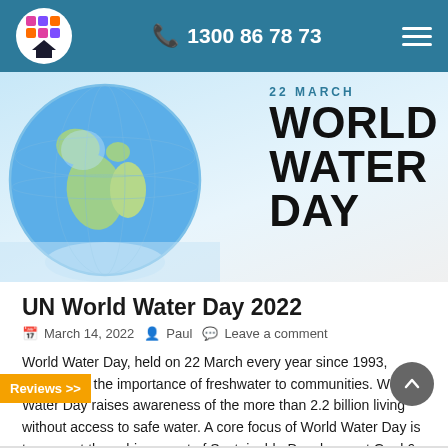1300 86 78 73
[Figure (illustration): World Water Day banner: globe on left with 22 March World Water Day text on right]
UN World Water Day 2022
March 14, 2022   Paul   Leave a comment
World Water Day, held on 22 March every year since 1993, focuses on the importance of freshwater to communities. World Water Day raises awareness of the more than 2.2 billion living without access to safe water. A core focus of World Water Day is to support the achievement of Sustainable Development Goal 6: water and sanitation for all by 2030. What can we do in Australia? It all starts…